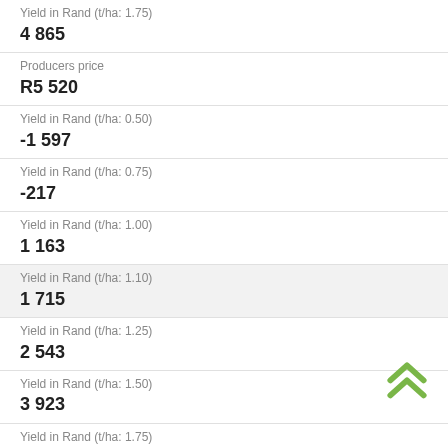| Label | Value |
| --- | --- |
| Yield in Rand (t/ha: 1.75) | 4 865 |
| Producers price | R5 520 |
| Yield in Rand (t/ha: 0.50) | -1 597 |
| Yield in Rand (t/ha: 0.75) | -217 |
| Yield in Rand (t/ha: 1.00) | 1 163 |
| Yield in Rand (t/ha: 1.10) | 1 715 |
| Yield in Rand (t/ha: 1.25) | 2 543 |
| Yield in Rand (t/ha: 1.50) | 3 923 |
| Yield in Rand (t/ha: 1.75) | 5 303 |